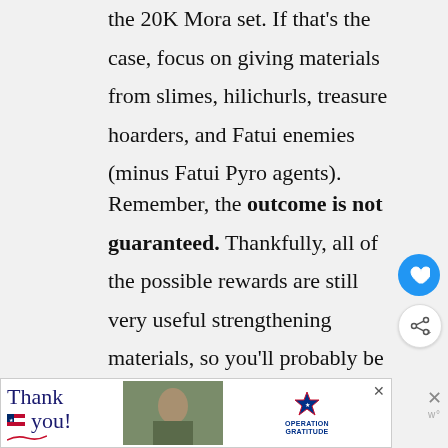the 20K Mora set. If that's the case, focus on giving materials from slimes, hilichurls, treasure hoarders, and Fatui enemies (minus Fatui Pyro agents).
Remember, the outcome is not guaranteed. Thankfully, all of the possible rewards are still very useful strengthening materials, so you'll probably be happy regardless. As there's no prompt for when the cooldown on the gadget has ended, you'll just have to remember to check your gadgets tab once a week.
[Figure (other): Advertisement banner for Operation Gratitude with 'Thank you!' handwritten text, American flag elements, military personnel photo, and Operation Gratitude logo with star]